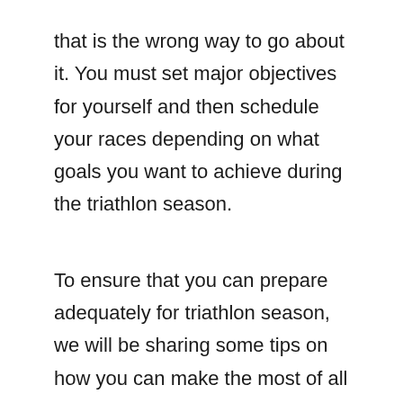that is the wrong way to go about it. You must set major objectives for yourself and then schedule your races depending on what goals you want to achieve during the triathlon season.
To ensure that you can prepare adequately for triathlon season, we will be sharing some tips on how you can make the most of all your races.